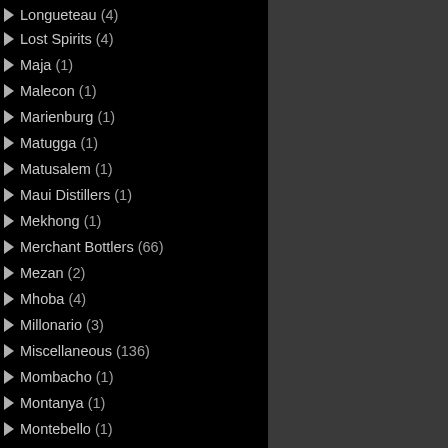Longueteau (4)
Lost Spirits (4)
Maja (1)
Malecon (1)
Marienburg (1)
Matugga (1)
Matusalem (1)
Maui Distillers (1)
Mekhong (1)
Merchant Bottlers (66)
Mezan (2)
Mhoba (4)
Millonario (3)
Miscellaneous (136)
Mombacho (1)
Montanya (1)
Montebello (1)
Monymusk (6)
Moon Imports (6)
Moscoso Distillers (3)
Mount Gay (10)